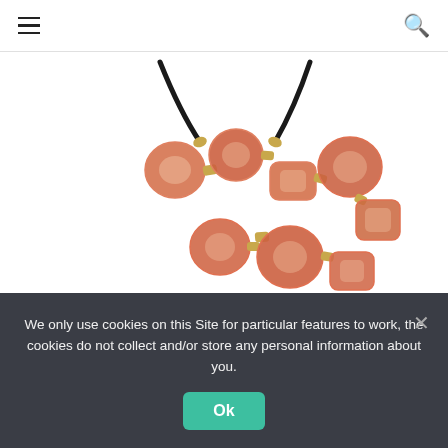≡  🔍
[Figure (photo): A necklace with orange/terracotta resin geometric circular and rectangular links joined by gold-tone connectors, on a black cord, photographed on white background.]
R59, Mr Price
Yellow Tassel Earrings
We only use cookies on this Site for particular features to work, the cookies do not collect and/or store any personal information about you.